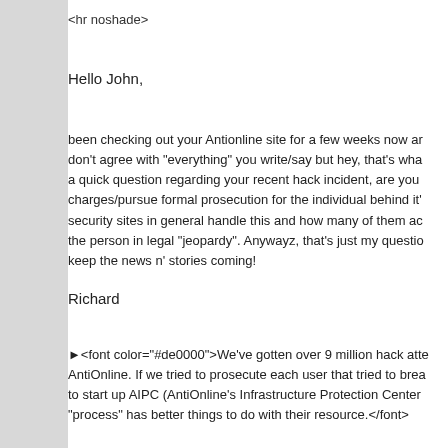<hr noshade>
Hello John,
been checking out your Antionline site for a few weeks now and I don't agree with "everything" you write/say but hey, that's what a quick question regarding your recent hack incident, are you charges/pursue formal prosecution for the individual behind it security sites in general handle this and how many of them ac the person in legal "jeopardy". Anywayz, that's just my questio keep the news n' stories coming!
Richard
►<font color="#de0000">We've gotten over 9 million hack atte AntiOnline. If we tried to prosecute each user that tried to brea to start up AIPC (AntiOnline's Infrastructure Protection Center "process" has better things to do with their resource.</font>